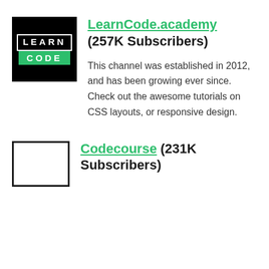[Figure (logo): LearnCode.academy logo — black background with white 'LEARN' text in bordered box and green 'CODE' bar below]
LearnCode.academy (257K Subscribers)
This channel was established in 2012, and has been growing ever since. Check out the awesome tutorials on CSS layouts, or responsive design.
[Figure (logo): Codecourse logo — outline square box, blank interior]
Codecourse (231K Subscribers)